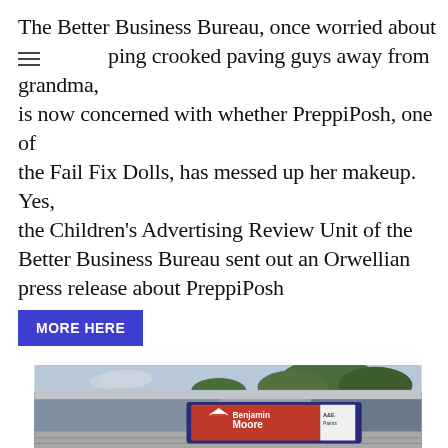The Better Business Bureau, once worried about keeping crooked paving guys away from grandma, is now concerned with whether PreppiPosh, one of the Fail Fix Dolls, has messed up her makeup. Yes, the Children's Advertising Review Unit of the Better Business Bureau sent out an Orwellian press release about PreppiPosh
MORE HERE
[Figure (photo): Exterior photo of a building with a Benjamin Moore paint store sign (red sign with white text and triangle logo) and an A&E Paints sign panel, with trees in the background and a shingled roof in the foreground.]